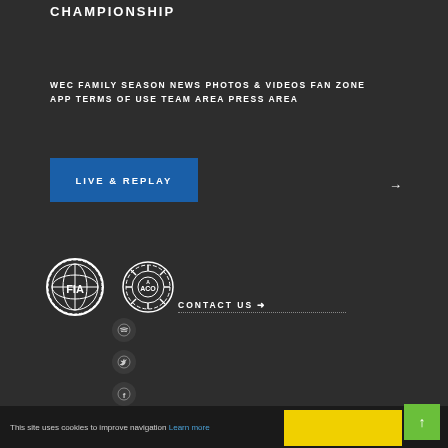CHAMPIONSHIP
WEC FAMILY SEASON NEWS PHOTOS & VIDEOS FAN ZONE APP TERMS OF USE TEAM AREA PRESS AREA
LIVE & REPLAY
[Figure (logo): FIA logo - white circular badge with globe and text]
[Figure (logo): ACO logo - white circular gear badge with ACO text]
CONTACT US →
[Figure (illustration): Spotify social media circular icon]
[Figure (illustration): Twitter social media circular icon]
[Figure (illustration): Facebook social media circular icon]
This site uses cookies to improve navigation Learn more